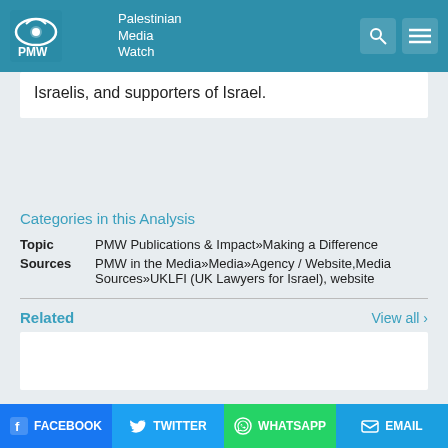Palestinian Media Watch
Israelis, and supporters of Israel.
Categories in this Analysis
Topic: PMW Publications & Impact»Making a Difference
Sources: PMW in the Media»Media»Agency / Website,Media Sources»UKLFI (UK Lawyers for Israel), website
Related
View all ›
FACEBOOK   TWITTER   WHATSAPP   EMAIL